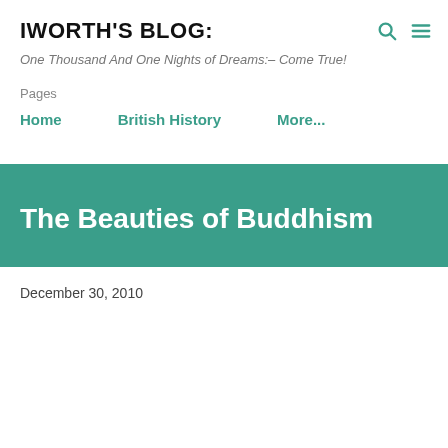IWORTH'S BLOG:
One Thousand And One Nights of Dreams:– Come True!
Pages
Home   British History   More...
The Beauties of Buddhism
December 30, 2010